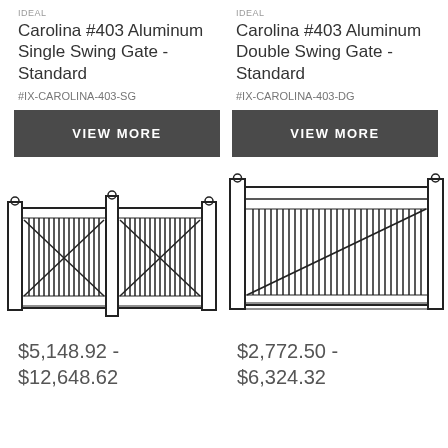IDEAL
Carolina #403 Aluminum Single Swing Gate - Standard
#IX-CAROLINA-403-SG
IDEAL
Carolina #403 Aluminum Double Swing Gate - Standard
#IX-CAROLINA-403-DG
VIEW MORE
VIEW MORE
[Figure (illustration): Line drawing of Carolina #403 Aluminum Double Swing Gate - Standard showing two gate panels with diagonal cross-bracing and vertical pickets]
[Figure (illustration): Line drawing of Carolina #403 Aluminum Single Swing Gate - Standard showing one gate panel with diagonal cross-bracing and vertical pickets]
$5,148.92 - $12,648.62
$2,772.50 - $6,324.32